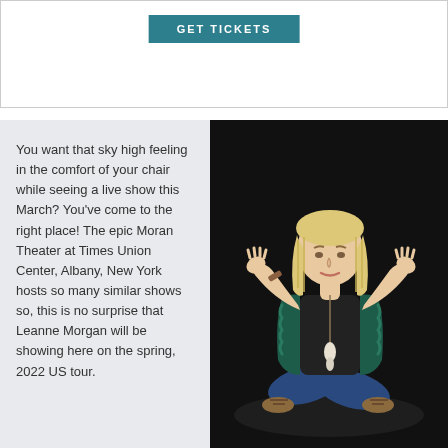[Figure (other): GET TICKETS button on white background with border]
You want that sky high feeling in the comfort of your chair while seeing a live show this March? You've come to the right place! The epic Moran Theater at Times Union Center, Albany, New York hosts so many similar shows so, this is no surprise that Leanne Morgan will be showing here on the spring, 2022 US tour.
[Figure (photo): A blonde woman wearing a teal/green fur vest and black top sitting cross-legged on a dark stage with arms raised in a shrug gesture, wearing gladiator sandals and jeans, with a long pendant necklace]